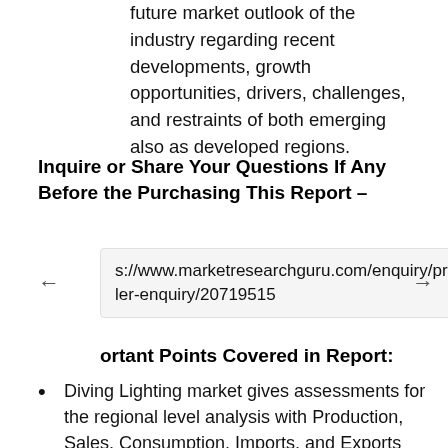future market outlook of the industry regarding recent developments, growth opportunities, drivers, challenges, and restraints of both emerging also as developed regions.
Inquire or Share Your Questions If Any Before the Purchasing This Report –
s://www.marketresearchguru.com/enquiry/pr ler-enquiry/20719515
ortant Points Covered in Report:
Diving Lighting market gives assessments for the regional level analysis with Production, Sales, Consumption, Imports, and Exports
Diving Lighting industry provides manufacturers with basic information,